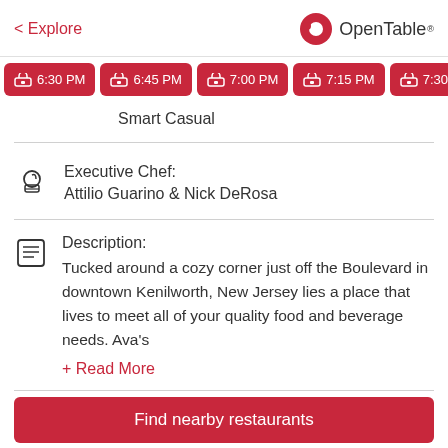< Explore   OpenTable
[Figure (screenshot): Time slot buttons showing 6:30 PM, 6:45 PM, 7:00 PM, 7:15 PM, 7:30 PM in red with table/chair icons]
Smart Casual
Executive Chef:
Attilio Guarino & Nick DeRosa
Description:
Tucked around a cozy corner just off the Boulevard in downtown Kenilworth, New Jersey lies a place that lives to meet all of your quality food and beverage needs. Ava's
+ Read More
Find nearby restaurants